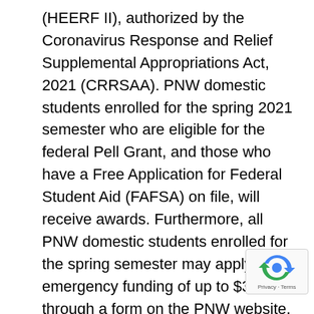(HEERF II), authorized by the Coronavirus Response and Relief Supplemental Appropriations Act, 2021 (CRRSAA). PNW domestic students enrolled for the spring 2021 semester who are eligible for the federal Pell Grant, and those who have a Free Application for Federal Student Aid (FAFSA) on file, will receive awards. Furthermore, all PNW domestic students enrolled for the spring semester may apply for emergency funding of up to $3,000 through a form on the PNW website, www.pnw.edu/heerf.
“PNW is continually focused on helping our students earn their degrees, and we are driving these newly available resources directly to students who need it most,” said Purdue